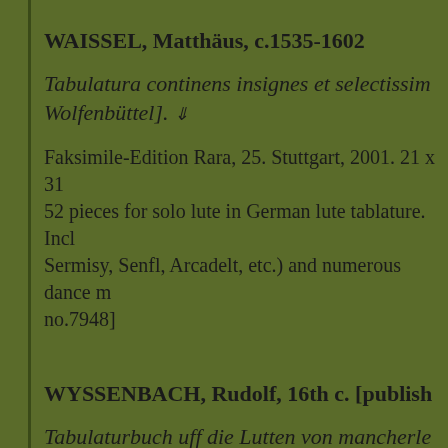WAISSEL, Matthäus, c.1535-1602
Tabulatura continens insignes et selectissim... Wolfenbüttel].
Faksimile-Edition Rara, 25. Stuttgart, 2001. 21 x 31 ... 52 pieces for solo lute in German lute tablature. Incl... Sermisy, Senfl, Arcadelt, etc.) and numerous dance m... no.7948]
WYSSENBACH, Rudolf, 16th c. [publish...
Tabulaturbuch uff die Lutten von mancherle... dem Vogelsang und einer Fäldschlacht, uß v...